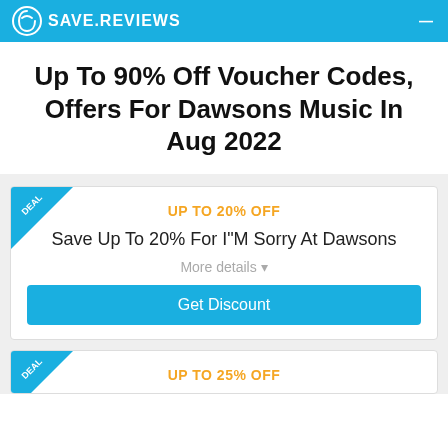SAVE.REVIEWS
Up To 90% Off Voucher Codes, Offers For Dawsons Music In Aug 2022
UP TO 20% OFF
Save Up To 20% For I"M Sorry At Dawsons
More details
Get Discount
UP TO 25% OFF